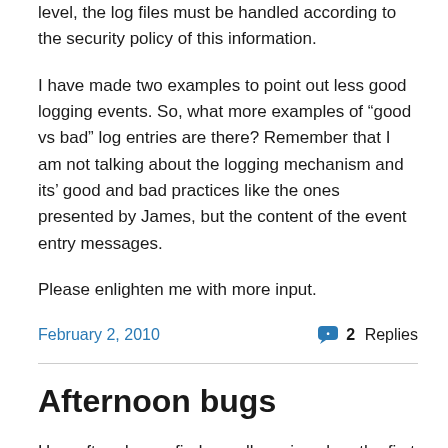level, the log files must be handled according to the security policy of this information.
I have made two examples to point out less good logging events. So, what more examples of “good vs bad” log entries are there? Remember that I am not talking about the logging mechanism and its’ good and bad practices like the ones presented by James, but the content of the event entry messages.
Please enlighten me with more input.
February 2, 2010
2 Replies
Afternoon bugs
How often do you find a really serious bug the first thing